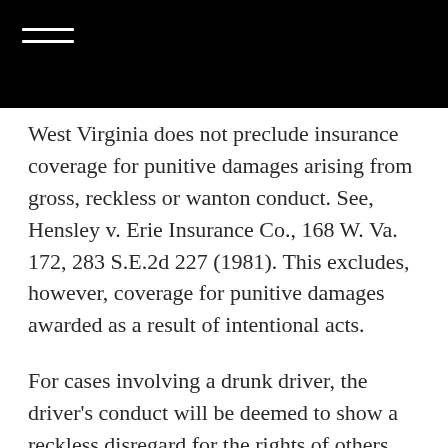West Virginia does not preclude insurance coverage for punitive damages arising from gross, reckless or wanton conduct. See, Hensley v. Erie Insurance Co., 168 W. Va. 172, 283 S.E.2d 227 (1981). This excludes, however, coverage for punitive damages awarded as a result of intentional acts.
For cases involving a drunk driver, the driver's conduct will be deemed to show a reckless disregard for the rights of others when the evidence proves that the person drove a vehicle in the state while under